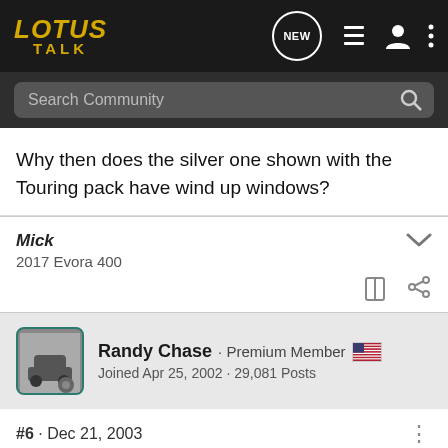LOTUS TALK - Navigation bar with search
Why then does the silver one shown with the Touring pack have wind up windows?
Mick
2017 Evora 400
Randy Chase · Premium Member
Joined Apr 25, 2002 · 29,081 Posts
#6 · Dec 21, 2003
Good ca... lly the